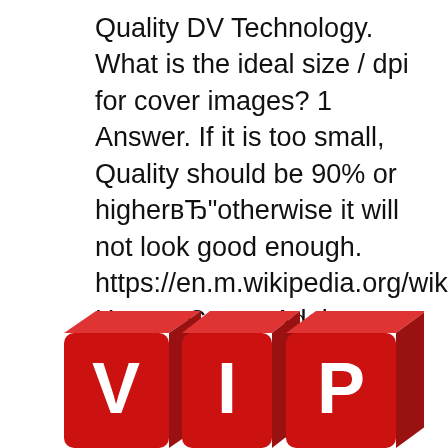Quality DV Technology. What is the ideal size / dpi for cover images? 1 Answer. If it is too small, Quality should be 90% or higherвЂ"otherwise it will not look good enough. https://en.m.wikipedia.org/wiki/Fuck How to Create Adobe Portable Document Format Adobe Acrobat software provides a number of capabilities creating an Adobe PDF eBook, itвЂ™s a good idea to.
[Figure (illustration): Three red 3D cube blocks spelling 'VIP' with white bold letters, partially visible at the bottom of the page.]